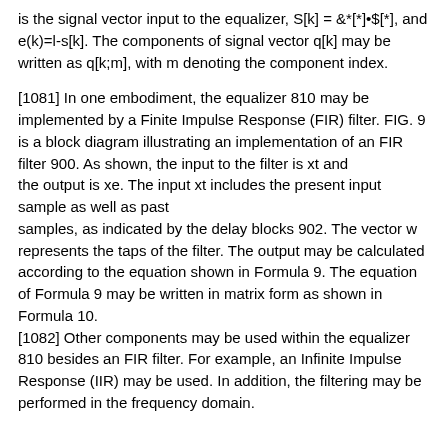is the signal vector input to the equalizer, S[k] = &*[*]•$[*], and e(k)=l-s[k]. The components of signal vector q[k] may be written as q[k;m], with m denoting the component index.
[1081] In one embodiment, the equalizer 810 may be implemented by a Finite Impulse Response (FIR) filter. FIG. 9 is a block diagram illustrating an implementation of an FIR filter 900. As shown, the input to the filter is xt and the output is xe. The input xt includes the present input sample as well as past samples, as indicated by the delay blocks 902. The vector w represents the taps of the filter. The output may be calculated according to the equation shown in Formula 9. The equation of Formula 9 may be written in matrix form as shown in Formula 10.
[1082] Other components may be used within the equalizer 810 besides an FIR filter. For example, an Infinite Impulse Response (IIR) may be used. In addition, the filtering may be performed in the frequency domain.